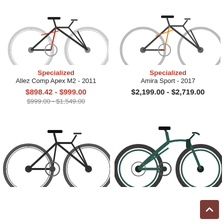[Figure (photo): Specialized Allez Comp Apex M2 2011 road bike in black and red, partial view showing wheels and frame]
[Figure (photo): Specialized Amira Sport 2017 women's road bike in dark with orange accents, partial view]
Specialized
Allez Comp Apex M2 - 2011
$898.42 - $999.00
$999.00 - $1,549.00
Specialized
Amira Sport - 2017
$2,199.00 - $2,719.00
[Figure (photo): Dark carbon road bike (Specialized), full side view on white background]
[Figure (photo): Dark teal/green aero road bike (Specialized), full side view on white background]